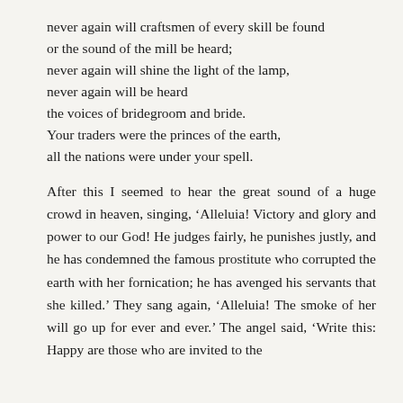never again will craftsmen of every skill be found
or the sound of the mill be heard;
never again will shine the light of the lamp,
never again will be heard
the voices of bridegroom and bride.
Your traders were the princes of the earth,
all the nations were under your spell.
After this I seemed to hear the great sound of a huge crowd in heaven, singing, ‘Alleluia! Victory and glory and power to our God! He judges fairly, he punishes justly, and he has condemned the famous prostitute who corrupted the earth with her fornication; he has avenged his servants that she killed.’ They sang again, ‘Alleluia! The smoke of her will go up for ever and ever.’ The angel said, ‘Write this: Happy are those who are invited to the